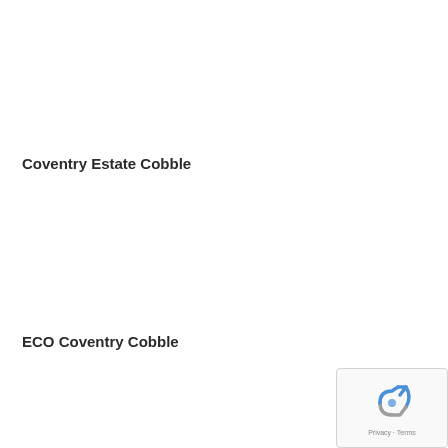Coventry Estate Cobble
ECO Coventry Cobble
[Figure (logo): reCAPTCHA widget with blue/grey recycling arrow logo and Privacy - Terms footer text]